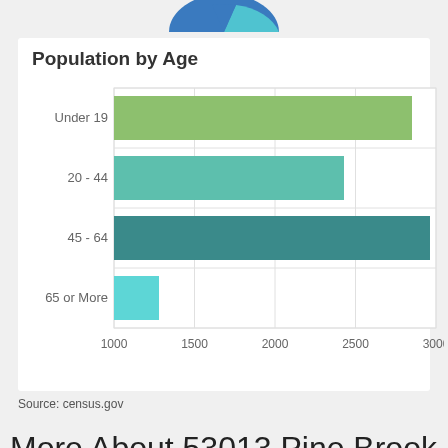[Figure (bar-chart): Population by Age]
Source: census.gov
More About 53013 Pine Brook Drive, Bristol, IN 46507